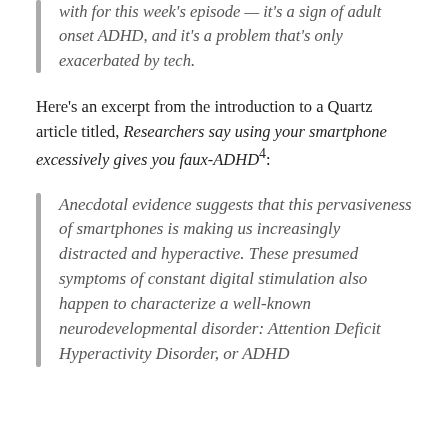with for this week's episode — it's a sign of adult onset ADHD, and it's a problem that's only exacerbated by tech.
Here's an excerpt from the introduction to a Quartz article titled, Researchers say using your smartphone excessively gives you faux-ADHD⁴:
Anecdotal evidence suggests that this pervasiveness of smartphones is making us increasingly distracted and hyperactive. These presumed symptoms of constant digital stimulation also happen to characterize a well-known neurodevelopmental disorder: Attention Deficit Hyperactivity Disorder, or ADHD